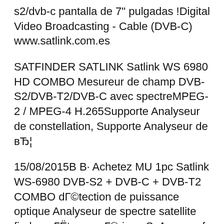s2/dvb-c pantalla de 7" pulgadas !Digital Video Broadcasting - Cable (DVB-C) www.satlink.com.es
SATFINDER SATLINK Satlink WS 6980 HD COMBO Mesureur de champ DVB-S2/DVB-T2/DVB-C avec spectreMPEG-2 / MPEG-4 H.265Supporte Analyseur de constellation, Supporte Analyseur de вЂ¦
15/08/2015В В· Achetez MU 1pc Satlink WS-6980 DVB-S2 + DVB-C + DVB-T2 COMBO dГ©tection de puissance optique Analyseur de spectre satellite finder mГЁtre numГ©rique S: Amazon.fr Livraison & retours gratuits possibles (voir conditions)